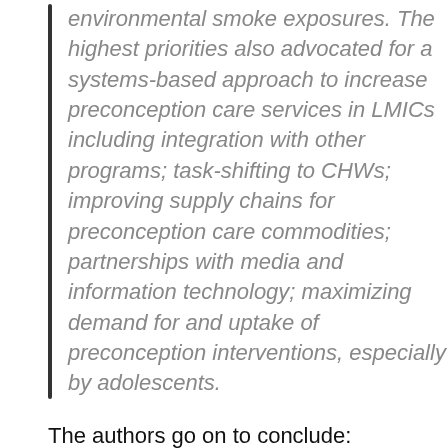environmental smoke exposures. The highest priorities also advocated for a systems-based approach to increase preconception care services in LMICs including integration with other programs; task-shifting to CHWs; improving supply chains for preconception care commodities; partnerships with media and information technology; maximizing demand for and uptake of preconception interventions, especially by adolescents.
The authors go on to conclude:
It is imperative that preconception care is seen as an earlier opportunity, not just for